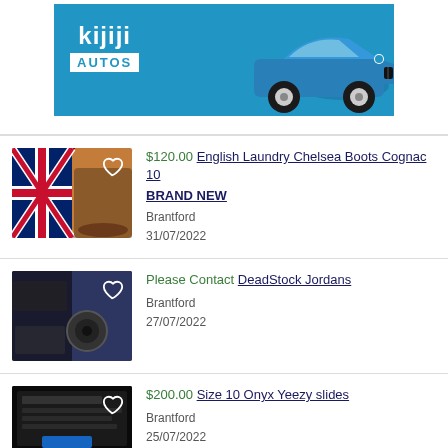[Figure (illustration): Kijiji Autos banner ad with blue background, Kijiji Autos logo on left and blue BMW 3-series car on right]
$120.00 English Laundry Chelsea Boots Cognac 10 BRAND NEW — Brantford, 31/07/2022
Please Contact DeadStock Jordans — Brantford, 27/07/2022
$200.00 Size 10 Onyx Yeezy slides — Brantford, 25/07/2022